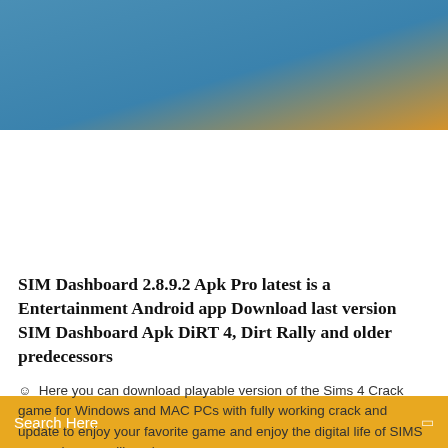[Figure (illustration): Blue and orange gradient website header banner]
[Figure (screenshot): Gold/orange search bar with text 'Search Here' and a small icon on the right]
SIM Dashboard 2.8.9.2 Apk Pro latest is a Entertainment Android app Download last version SIM Dashboard Apk DiRT 4, Dirt Rally and older predecessors
Here you can download playable version of the Sims 4 Crack game for Windows and MAC PCs with fully working crack and update to enjoy your favorite game and enjoy the digital life of SIMS as much as you like.   |
1 Comments